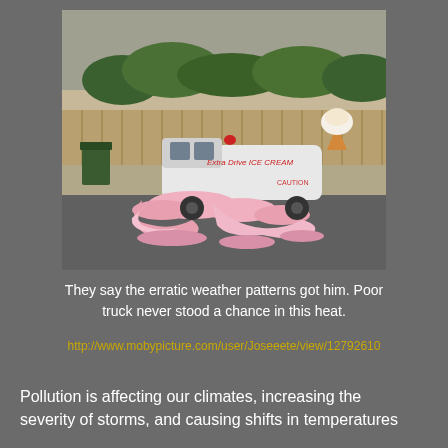[Figure (photo): A humorous photo of an ice cream truck that appears to be melting into the pavement, with pink and white melted ice cream swirling around the vehicle. The truck is labeled 'Extra Drive ICE CREAM' and 'CAUTION'. In the background there is a concrete wall, wooden fence, green bushes, and a dark green wheelie bin.]
They say the erratic weather patterns got him. Poor truck never stood a chance in this heat.
http://www.mobypicture.com/user/Joseeete/view/12792610
Pollution is affecting our climates, increasing the severity of storms, and causing shifts in temperatures